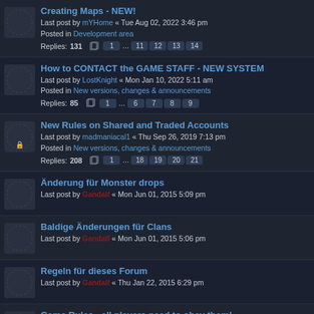Creating Maps - NEW! Last post by mYHome « Tue Aug 02, 2022 3:46 pm Posted in Development area Replies: 131 pages 1 ... 11 12 13 14
How to CONTACT the GAME STAFF - NEW SYSTEM Last post by LostKnight « Mon Jan 10, 2022 5:11 am Posted in New versions, changes & announcements Replies: 85 pages 1 ... 6 7 8 9
New Rules on Shared and Traded Accounts Last post by madmaniacal1 « Thu Sep 26, 2019 7:13 pm Posted in New versions, changes & announcements Replies: 208 pages 1 ... 18 19 20 21
Änderung für Monster drops Last post by Gandalf « Mon Jun 01, 2015 5:09 pm
Baldige Änderungen für Clans Last post by Gandalf « Mon Jun 01, 2015 5:06 pm
Regeln für dieses Forum Last post by Gandalf « Thu Jan 22, 2015 6:29 pm
Game Rules - all players need to obey them! Last post by ardesia « Thu Sep 13, 2018 5:36 pm Posted in General information Replies: 8